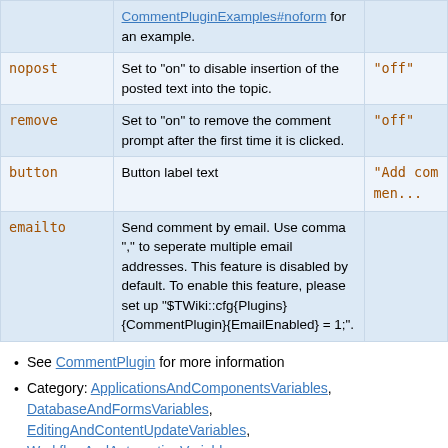| Parameter | Description | Default |
| --- | --- | --- |
|  | CommentPluginExamples#noform for an example. |  |
| nopost | Set to "on" to disable insertion of the posted text into the topic. | "off" |
| remove | Set to "on" to remove the comment prompt after the first time it is clicked. | "off" |
| button | Button label text | "Add commen... |
| emailto | Send comment by email. Use comma "," to seperate multiple email addresses. This feature is disabled by default. To enable this feature, please set up "$TWiki::cfg{Plugins}{CommentPlugin}{EmailEnabled} = 1;". |  |
See CommentPlugin for more information
Category: ApplicationsAndComponentsVariables, DatabaseAndFormsVariables, EditingAndContentUpdateVariables, WorkflowAndAutomationVariables
Related: HIDE, TWikiForms (this topic)